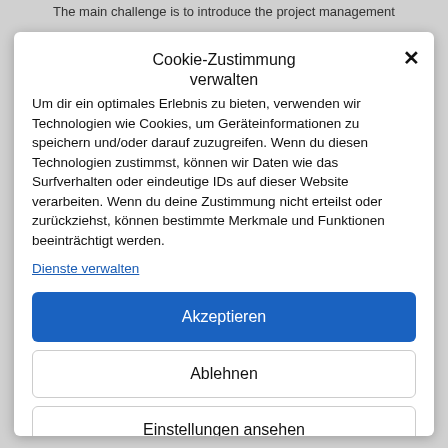The main challenge is to introduce the project management
Cookie-Zustimmung verwalten
Um dir ein optimales Erlebnis zu bieten, verwenden wir Technologien wie Cookies, um Geräteinformationen zu speichern und/oder darauf zuzugreifen. Wenn du diesen Technologien zustimmst, können wir Daten wie das Surfverhalten oder eindeutige IDs auf dieser Website verarbeiten. Wenn du deine Zustimmung nicht erteilst oder zurückziehst, können bestimmte Merkmale und Funktionen beeinträchtigt werden.
Dienste verwalten
Akzeptieren
Ablehnen
Einstellungen ansehen
Cookie Policy  Datenschutzerklärung  Impressum